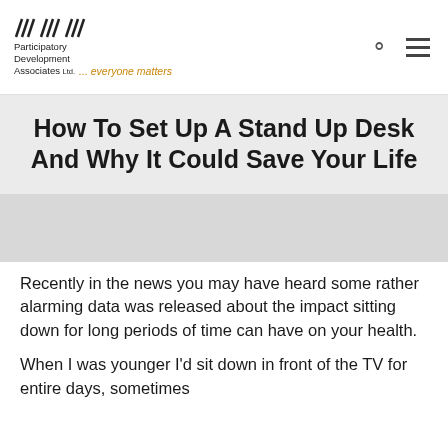Participatory Development Associates Ltd. ... everyone matters
How To Set Up A Stand Up Desk And Why It Could Save Your Life
[Figure (photo): Blurred/placeholder image area below the title banner]
Recently in the news you may have heard some rather alarming data was released about the impact sitting down for long periods of time can have on your health.
When I was younger I'd sit down in front of the TV for entire days, sometimes